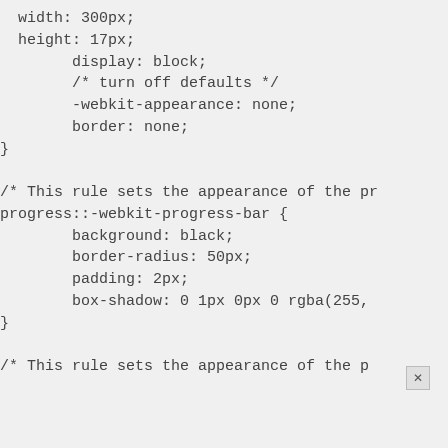width: 300px;
  height: 17px;
        display: block;
        /* turn off defaults */
        -webkit-appearance: none;
        border: none;
}

/* This rule sets the appearance of the pr
progress::-webkit-progress-bar {
        background: black;
        border-radius: 50px;
        padding: 2px;
        box-shadow: 0 1px 0px 0 rgba(255,
}

/* This rule sets the appearance of the p